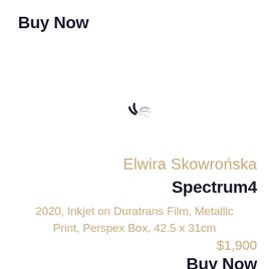Buy Now
[Figure (illustration): Loading spinner icon — two dark curved strokes on left and two lighter strokes on right, forming a partial circle suggesting rotation]
Elwira Skowrońska
Spectrum4
2020, Inkjet on Duratrans Film, Metallic Print, Perspex Box, 42.5 x 31cm
$1,900
Buy Now